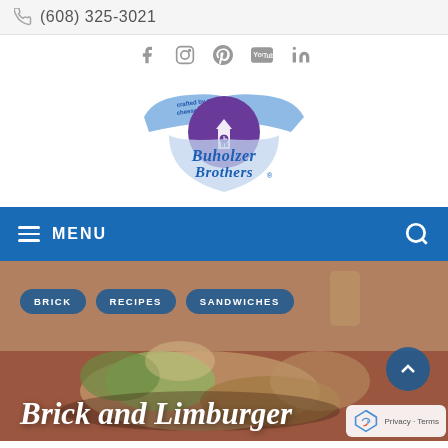(608) 325-3021
[Figure (logo): Buholzer Brothers logo — blue ribbon banner with text 'crafted by master cheesemakers', Gothic clock tower building in purple circle, text 'Buholzer Brothers' in blue script]
[Figure (infographic): Social media icons: Facebook, Instagram, Pinterest, YouTube, LinkedIn]
≡ MENU
[Figure (photo): Food photo showing a sandwich/meal with green vegetables and grilled meat on a red background]
BRICK
RECIPES
SANDWICHES
Brick and Limburger